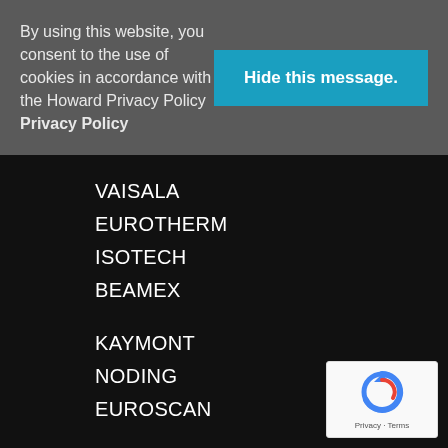By using this website, you consent to the use of cookies in accordance with the Howard Privacy Policy Privacy Policy
Hide this message.
VAISALA
EUROTHERM
ISOTECH
BEAMEX
KAYMONT
NODING
EUROSCAN
[Figure (logo): reCAPTCHA badge with Google Privacy and Terms text]